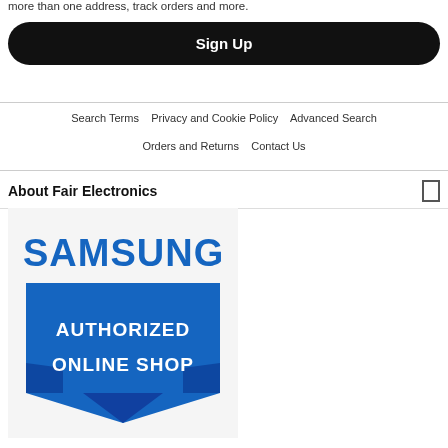more than one address, track orders and more.
Sign Up
Search Terms   Privacy and Cookie Policy   Advanced Search
Orders and Returns   Contact Us
About Fair Electronics
[Figure (logo): Samsung Authorized Online Shop badge logo]